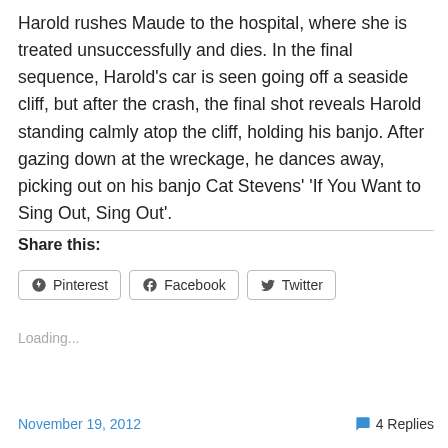Harold rushes Maude to the hospital, where she is treated unsuccessfully and dies. In the final sequence, Harold's car is seen going off a seaside cliff, but after the crash, the final shot reveals Harold standing calmly atop the cliff, holding his banjo. After gazing down at the wreckage, he dances away, picking out on his banjo Cat Stevens' 'If You Want to Sing Out, Sing Out'.
Share this:
Loading...
November 19, 2012   4 Replies